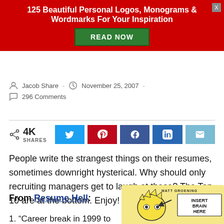[Figure (infographic): Red advertisement banner for '125 Beautiful Personal Logos, Monograms & Wordmarks For Your Inspiration' with a green 'READ NOW' button and a close X button]
Jacob Share · November 25, 2007 · 296 Comments
[Figure (infographic): Social share bar showing 4K SHARES with Twitter, Pinterest, Facebook, LinkedIn, and Email buttons]
People write the strangest things on their resumes, sometimes downright hysterical. Why should only recruiting managers get to laugh at these? The Top 10 are at the bottom. Enjoy!
From Resume Hell:
1. "Career break in 1999 to
[Figure (illustration): Bart Simpson cartoon with arrow pointing to head labeled 'INSERT BRAIN HERE', captioned 'MATT GROENING']